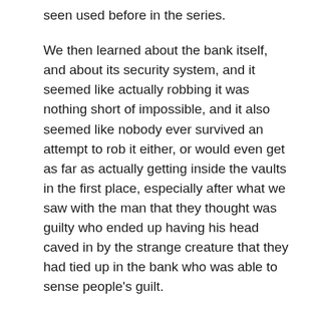seen used before in the series.
We then learned about the bank itself, and about its security system, and it seemed like actually robbing it was nothing short of impossible, and it also seemed like nobody ever survived an attempt to rob it either, or would even get as far as actually getting inside the vaults in the first place, especially after what we saw with the man that they thought was guilty who ended up having his head caved in by the strange creature that they had tied up in the bank who was able to sense people's guilt.
In the end is was the denoument of the episode which was the most interesting thing about the episode as the ending completely turned the plot 360 degrees and what was going on was a completely different kettle of fish.
The teller was an interesting monster and wouldn't have